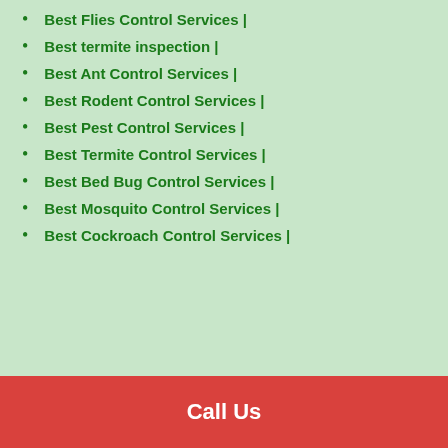Best Flies Control Services |
Best termite inspection |
Best Ant Control Services |
Best Rodent Control Services |
Best Pest Control Services |
Best Termite Control Services |
Best Bed Bug Control Services |
Best Mosquito Control Services |
Best Cockroach Control Services |
Call Us